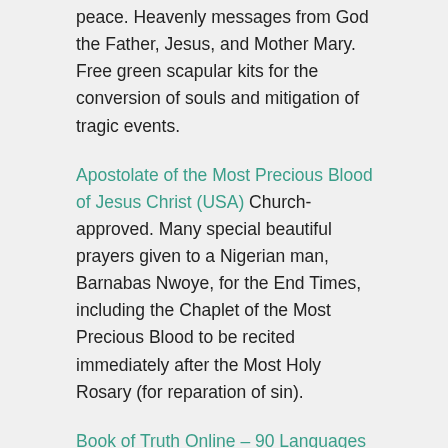peace. Heavenly messages from God the Father, Jesus, and Mother Mary. Free green scapular kits for the conversion of souls and mitigation of tragic events.
Apostolate of the Most Precious Blood of Jesus Christ (USA) Church-approved. Many special beautiful prayers given to a Nigerian man, Barnabas Nwoye, for the End Times, including the Chaplet of the Most Precious Blood to be recited immediately after the Most Holy Rosary (for reparation of sin).
Book of Truth Online – 90 Languages Great back-up resource featuring all heavenly messages and prayers in the Book of Truth as given to End Times prophet, Maria Divine Mercy. Messages and prayers can be downloaded and saved. Has all downloadable translations for the Seal of The Living God.